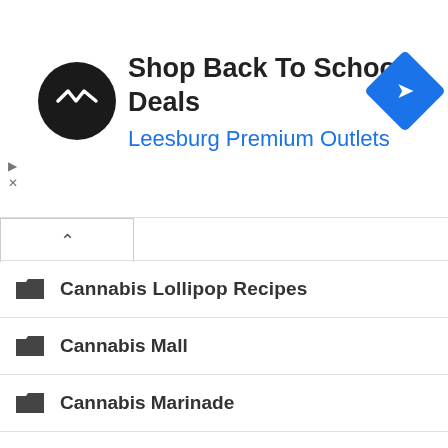[Figure (screenshot): Advertisement banner: black circular logo with double-arrow symbol, text 'Shop Back To School Deals' in bold dark, 'Leesburg Premium Outlets' in blue, blue diamond navigation icon on right. Small play/close controls on left side.]
Cannabis Lollipop Recipes
Cannabis Mall
Cannabis Marinade
Cannabis Market
Cannabis Marketing Director
Cannabis News
Cannabis News Canada
Cannabis News South Africa
Cannabis News U.S.
Cannabis NETs